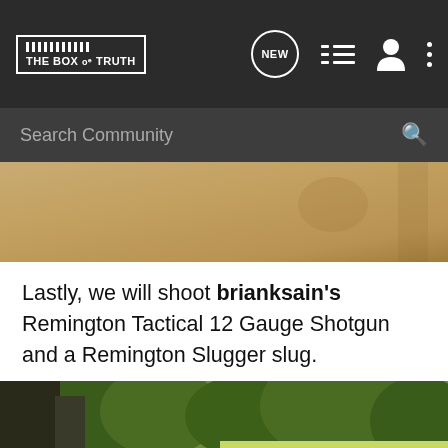THE BOX OF TRUTH
[Figure (photo): Partial view of a cardboard target/wall, tan/brown color, cropped]
Lastly, we will shoot brianksain's Remington Tactical 12 Gauge Shotgun and a Remington Slugger slug.
[Figure (photo): Elderly man with white/grey hair lying prone aiming a black shotgun, outdoor shooting range with green grass and trees in background]